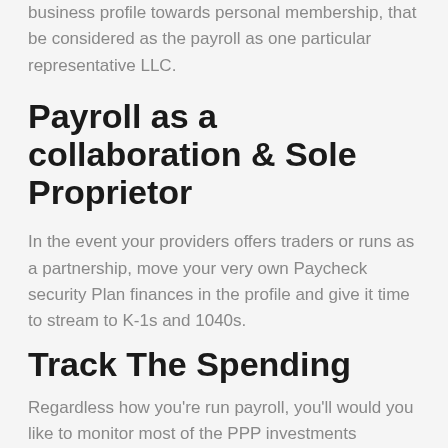business profile towards personal membership, that be considered as the payroll as one particular representative LLC.
Payroll as a collaboration & Sole Proprietor
In the event your providers offers traders or runs as a partnership, move your very own Paycheck security Plan finances in the profile and give it time to stream to K-1s and 1040s.
Track The Spending
Regardless how you’re run payroll, you’ll would you like to monitor most of the PPP investments